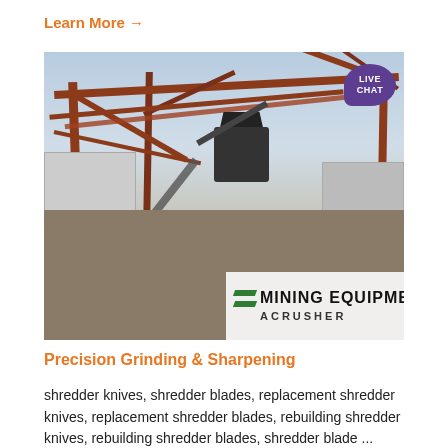Learn More →
[Figure (photo): Mining equipment facility with red steel structural framework, conveyor belts and crushing machinery, workers on site. Logo overlay reads 'MINING EQUIPMENT ACRUSHER' with green stripe chevron logo and a purple 'LIVE CHAT' speech bubble in the top right corner.]
Precision Grinding & Sharpening
shredder knives, shredder blades, replacement shredder knives, replacement shredder blades, rebuilding shredder knives, rebuilding shredder blades, shredder blade ...